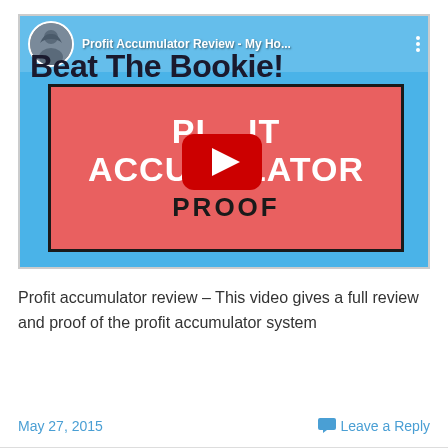[Figure (screenshot): YouTube video thumbnail for 'Profit Accumulator Review - My Ho...' showing Beat The Bookie channel. Blue background with large red rectangle containing white bold text 'PROFIT ACCUMULATOR' and dark text 'PROOF'. Red YouTube play button in center. Channel avatar and title bar at top.]
Profit accumulator review – This video gives a full review and proof of the profit accumulator system
May 27, 2015    Leave a Reply